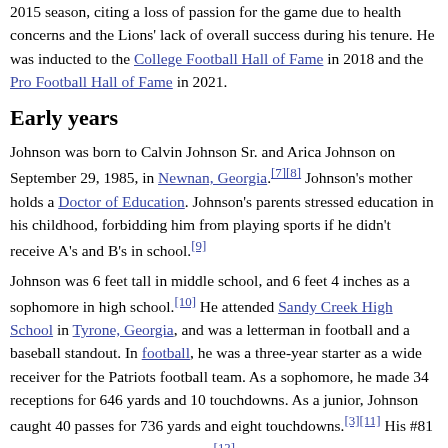2015 season, citing a loss of passion for the game due to health concerns and the Lions' lack of overall success during his tenure. He was inducted to the College Football Hall of Fame in 2018 and the Pro Football Hall of Fame in 2021.
Early years
Johnson was born to Calvin Johnson Sr. and Arica Johnson on September 29, 1985, in Newnan, Georgia.[7][8] Johnson's mother holds a Doctor of Education. Johnson's parents stressed education in his childhood, forbidding him from playing sports if he didn't receive A's and B's in school.[9]
Johnson was 6 feet tall in middle school, and 6 feet 4 inches as a sophomore in high school.[10] He attended Sandy Creek High School in Tyrone, Georgia, and was a letterman in football and a baseball standout. In football, he was a three-year starter as a wide receiver for the Patriots football team. As a sophomore, he made 34 receptions for 646 yards and 10 touchdowns. As a junior, Johnson caught 40 passes for 736 yards and eight touchdowns.[3][11] His #81 was retired on October 22, 2010.[12]
Johnson was rated among the nation's top 10 wide receivers and top 100 players by virtually every recruiting analyst. He was